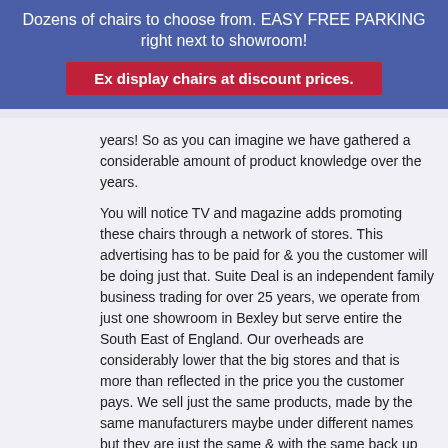Dozens of chairs to choose from. EASY FREE PARKING right next to showroom!
Ex display chairs at discount prices.
years! So as you can imagine we have gathered a considerable amount of product knowledge over the years.
You will notice TV and magazine adds promoting these chairs through a network of stores. This advertising has to be paid for & you the customer will be doing just that. Suite Deal is an independent family business trading for over 25 years, we operate from just one showroom in Bexley but serve entire the South East of England. Our overheads are considerably lower that the big stores and that is more than reflected in the price you the customer pays. We sell just the same products, made by the same manufacturers maybe under different names but they are just the same & with the same back up service.
SIZE matters